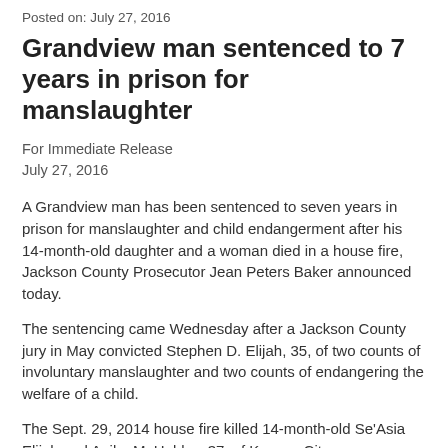Posted on: July 27, 2016
Grandview man sentenced to 7 years in prison for manslaughter
For Immediate Release
July 27, 2016
A Grandview man has been sentenced to seven years in prison for manslaughter and child endangerment after his 14-month-old daughter and a woman died in a house fire, Jackson County Prosecutor Jean Peters Baker announced today.
The sentencing came Wednesday after a Jackson County jury in May convicted Stephen D. Elijah, 35, of two counts of involuntary manslaughter and two counts of endangering the welfare of a child.
The Sept. 29, 2014 house fire killed 14-month-old Se'Asia Elijah and Anika M. Hobley, 37, of Kansas City.
Jackson County prosecutors Traci Stansell and Ryan Horsman prosecuted the case for the state of Missouri.